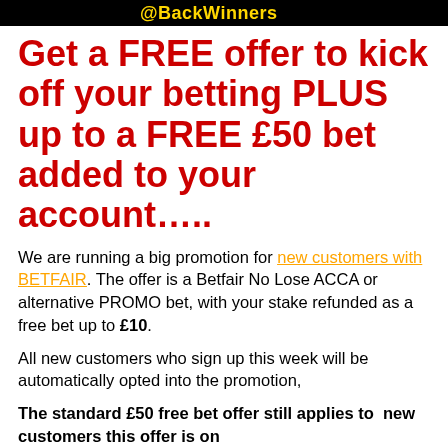@BackWinners
Get a FREE offer to kick off your betting PLUS up to a FREE £50 bet added to your account…..
We are running a big promotion for new customers with BETFAIR. The offer is a Betfair No Lose ACCA or alternative PROMO bet, with your stake refunded as a free bet up to £10.
All new customers who sign up this week will be automatically opted into the promotion,
The standard £50 free bet offer still applies to  new customers this offer is on top of the...